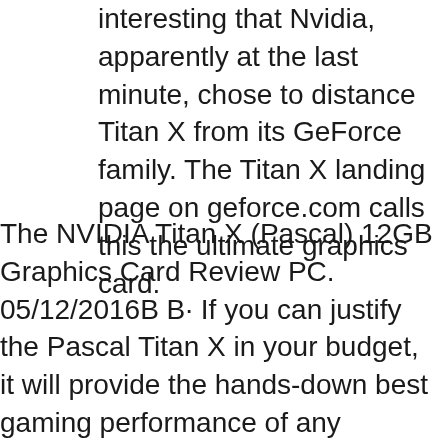interesting that Nvidia, apparently at the last minute, chose to distance Titan X from its GeForce family. The Titan X landing page on geforce.com calls this the ultimate graphics card.
The NVIDIA Titan X (Pascal) 12GB Graphics Card Review PC. 05/12/2016В В· If you can justify the Pascal Titan X in your budget, it will provide the hands-down best gaming performance of any graphics card ever made. Talk to your loan officer about one today., Nvidia first announced the Titan ХвЂ™s specs on July 21, with a snazzy video to boot. The blog post